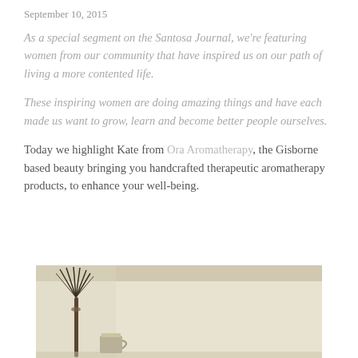September 10, 2015
As a special segment on the Santosa Journal, we're featuring women from our community that have inspired us on our path of living a more contented life.
These inspiring women are doing amazing things and have each made us want to grow, learn and become better people ourselves.
Today we highlight Kate from Ora Aromatherapy, the Gisborne based beauty bringing you handcrafted therapeutic aromatherapy products, to enhance your well-being.
[Figure (photo): Interior photo showing a room with a cream/beige wall, a bundle of dried grasses or botanicals, and a cup or vessel, with a white ceiling rail visible at the top.]